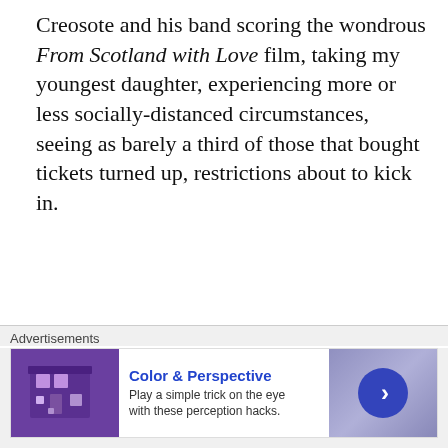Creosote and his band scoring the wondrous From Scotland with Love film, taking my youngest daughter, experiencing more or less socially-distanced circumstances, seeing as barely a third of those that bought tickets turned up, restrictions about to kick in.
[Figure (photo): A young man with short brown hair in side profile against a stone/brick wall background. The image appears to be a professional or semi-professional photograph with a shallow depth of field.]
Advertisements
[Figure (screenshot): Advertisement banner: Color & Perspective - Play a simple trick on the eye with these perception hacks. Shows a purple store-front graphic on the left and a blue circular arrow button on the right.]